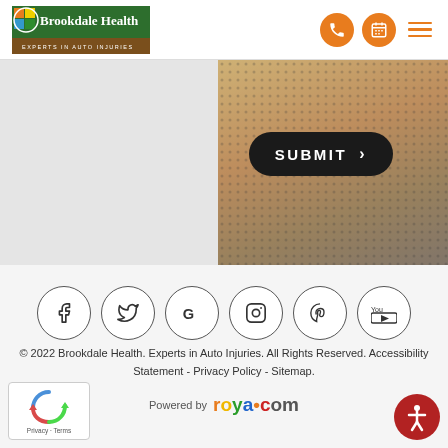[Figure (logo): Brookdale Health logo with spiral icon and tagline 'Experts in Auto Injuries']
[Figure (illustration): Orange phone icon in circle, calendar icon in circle, hamburger menu icon in orange]
[Figure (photo): Hero banner with SUBMIT button on dark pill background, right side shows golden/brown textured image]
[Figure (illustration): Six social media icons in circular outlines: Facebook, Twitter, Google, Instagram, Pinterest, YouTube]
© 2022 Brookdale Health. Experts in Auto Injuries. All Rights Reserved. Accessibility Statement - Privacy Policy - Sitemap.
Powered by roya.com
[Figure (logo): reCAPTCHA badge with Privacy and Terms links]
[Figure (illustration): Red accessibility icon button (person in circle)]